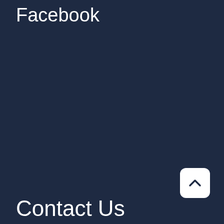Facebook
[Figure (other): White rounded square button with an upward-pointing chevron/caret arrow icon, used as a scroll-to-top button]
Contact Us